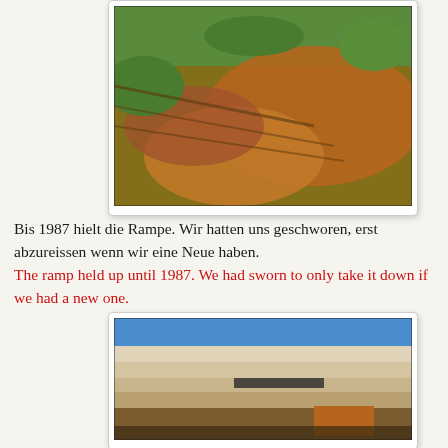[Figure (photo): Photo of a damaged wooden ramp with rusty metal sheets, surrounded by green grass and vegetation, viewed from above.]
Bis 1987 hielt die Rampe. Wir hatten uns geschworen, erst abzureissen wenn wir eine Neue haben.
The ramp held up until 1987. We had sworn to only take it down if we had a new one.
[Figure (photo): Photo of the underside/edge of a wooden ramp structure against a blue sky, showing wooden beams and rusty metal.]
Im Herst 1987 war klar, dass die GreenRamp gebaut wird.